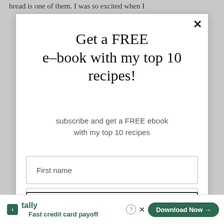bread is one of them. I was so excited when I
Get a FREE e-book with my top 10 recipes!
subscribe and get a FREE ebook with my top 10 recipes
First name
Email address
COUNT ME IN!
tally Fast credit card payoff  Download Now →